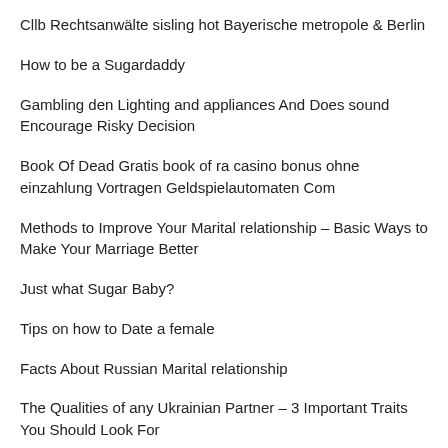Cllb Rechtsanwälte sisling hot Bayerische metropole & Berlin
How to be a Sugardaddy
Gambling den Lighting and appliances And Does sound Encourage Risky Decision
Book Of Dead Gratis book of ra casino bonus ohne einzahlung Vortragen Geldspielautomaten Com
Methods to Improve Your Marital relationship – Basic Ways to Make Your Marriage Better
Just what Sugar Baby?
Tips on how to Date a female
Facts About Russian Marital relationship
The Qualities of any Ukrainian Partner – 3 Important Traits You Should Look For